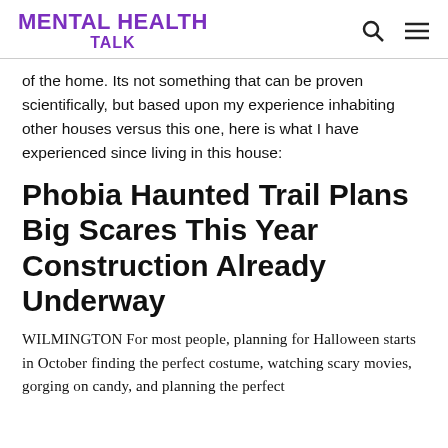MENTAL HEALTH TALK
of the home. Its not something that can be proven scientifically, but based upon my experience inhabiting other houses versus this one, here is what I have experienced since living in this house:
Phobia Haunted Trail Plans Big Scares This Year Construction Already Underway
WILMINGTON For most people, planning for Halloween starts in October finding the perfect costume, watching scary movies, gorging on candy, and planning the perfect